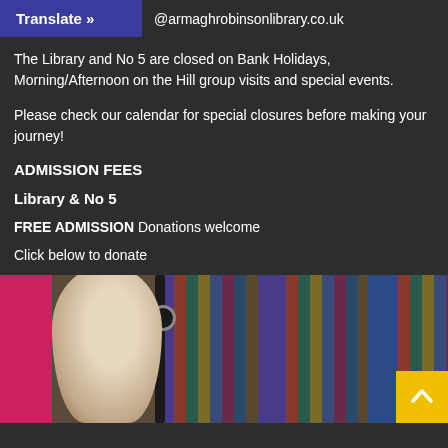Translate » @armaghrobinsonlibrary.co.uk
The Library and No 5 are closed on Bank Holidays, Morning/Afternoon on the Hill group visits and special events.
Please check our calendar for special closures before making your journey!
ADMISSION FEES
Library & No 5
FREE ADMISSION Donations welcome
Click below to donate
[Figure (photo): Photo of a bust sculpture and bookshelves in a library, with a pink sidebar and a yellow back-to-top arrow button in the bottom right corner.]